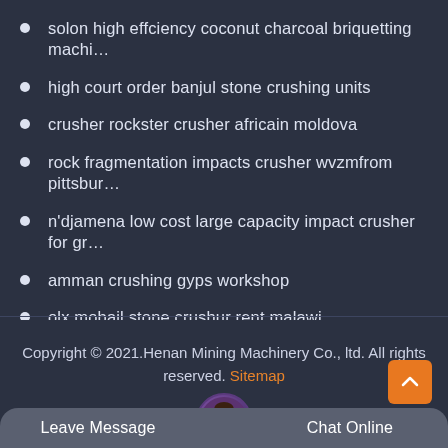solon high effciency coconut charcoal briquetting machi…
high court order banjul stone crushing units
crusher rockster crusher africain moldova
rock fragmentation impacts crusher wvzmfrom pittsbur…
n'djamena low cost large capacity impact crusher for gr…
amman crushing gyps workshop
olx mobail stone crushur rent malawi
Copyright © 2021.Henan Mining Machinery Co., ltd. All rights reserved. Sitemap
Leave Message
Chat Online